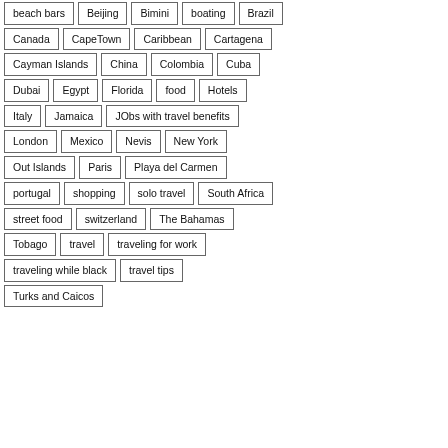beach bars
Beijing
Bimini
boating
Brazil
Canada
CapeTown
Caribbean
Cartagena
Cayman Islands
China
Colombia
Cuba
Dubai
Egypt
Florida
food
Hotels
Italy
Jamaica
JObs with travel benefits
London
Mexico
Nevis
New York
Out Islands
Paris
Playa del Carmen
portugal
shopping
solo travel
South Africa
street food
switzerland
The Bahamas
Tobago
travel
traveling for work
traveling while black
travel tips
Turks and Caicos